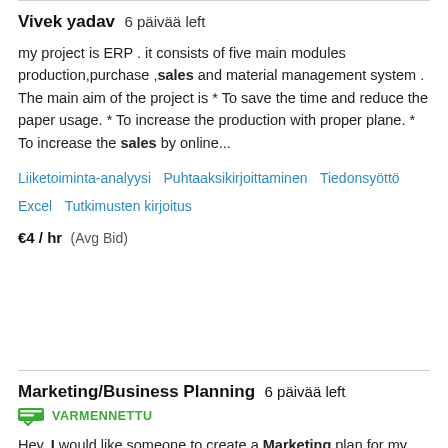Vivek yadav  6 päivää left
my project is ERP . it consists of five main modules production,purchase ,sales and material management system . The main aim of the project is * To save the time and reduce the paper usage. * To increase the production with proper plane. * To increase the sales by online...
Liiketoiminta-analyysi   Puhtaaksikirjoittaminen   Tiedonsyöttö   Excel   Tutkimusten kirjoitus
€4 / hr  (Avg Bid)
Marketing/Business Planning  6 päivää left
VARMENNETTU
Hey, I would like someone to create a Marketing plan for my business. The business is about Housing (Home owners market, targeting new homeowners) We are currently doing door to door and texting campaigns. We